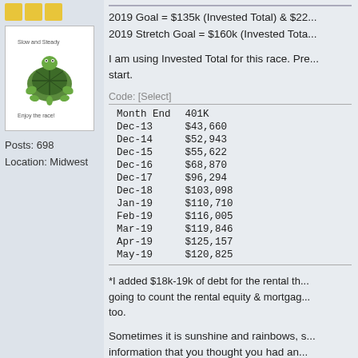[Figure (illustration): Three yellow/gold star/badge icons in a row]
[Figure (photo): Avatar image of a cartoon turtle with text above and below it, inside a white bordered box]
Posts: 698
Location: Midwest
2019 Goal = $135k (Invested Total) & $22...
2019 Stretch Goal = $160k (Invested Tota...
I am using Invested Total for this race. Pre... start.
Code: [Select]
| Month End | 401K |
| --- | --- |
| Dec-13 | $43,660 |
| Dec-14 | $52,943 |
| Dec-15 | $55,622 |
| Dec-16 | $68,870 |
| Dec-17 | $96,294 |
| Dec-18 | $103,098 |
| Jan-19 | $110,710 |
| Feb-19 | $116,005 |
| Mar-19 | $119,846 |
| Apr-19 | $125,157 |
| May-19 | $120,825 |
*I added $18k-19k of debt for the rental th... going to count the rental equity & mortgag... too.
Sometimes it is sunshine and rainbows, s... information that you thought you had an...